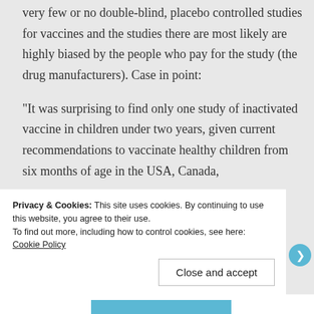very few or no double-blind, placebo controlled studies for vaccines and the studies there are most likely are highly biased by the people who pay for the study (the drug manufacturers). Case in point:
“It was surprising to find only one study of inactivated vaccine in children under two years, given current recommendations to vaccinate healthy children from six months of age in the USA, Canada,
Privacy & Cookies: This site uses cookies. By continuing to use this website, you agree to their use.
To find out more, including how to control cookies, see here: Cookie Policy